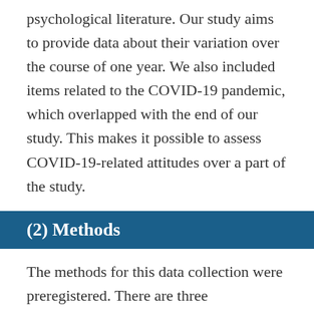psychological literature. Our study aims to provide data about their variation over the course of one year. We also included items related to the COVID-19 pandemic, which overlapped with the end of our study. This makes it possible to assess COVID-19-related attitudes over a part of the study.
(2) Methods
The methods for this data collection were preregistered. There are three preregistrations associated with the project. The first preregisters the procedure and original measures used in the study. It was completed prior to the start of data collection, and is available here: https://osf.io/7h5ds. The second